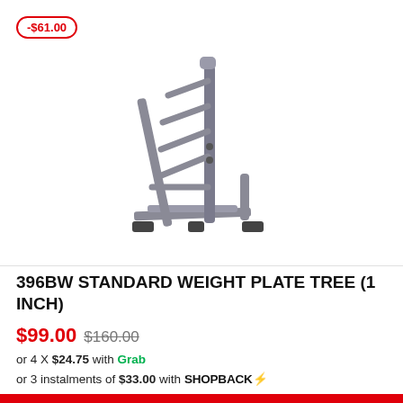[Figure (photo): Grey metal weight plate tree rack with angled arms for storing standard 1-inch weight plates, shown on white background]
396BW STANDARD WEIGHT PLATE TREE (1 INCH)
$99.00 $160.00
or 4 X $24.75 with Grab
or 3 instalments of $33.00 with SHOPBACK⚡